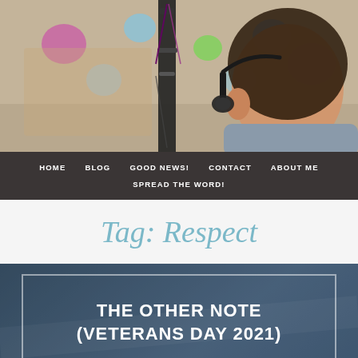[Figure (photo): Person aiming a compound bow, seen from behind/side, with colorful targets in the blurred background]
HOME   BLOG   GOOD NEWS!   CONTACT   ABOUT ME   SPREAD THE WORD!
Tag: Respect
THE OTHER NOTE (VETERANS DAY 2021)